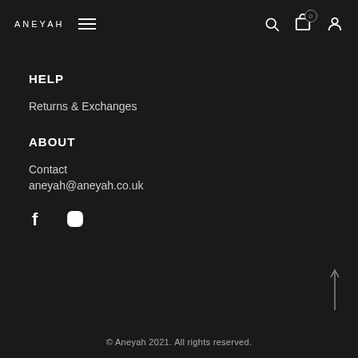ANEYAH
HELP
Returns & Exchanges
ABOUT
Contact
aneyah@aneyah.co.uk
[Figure (illustration): Social media icons: Facebook (f) and Instagram (circle with camera icon)]
© Aneyah 2021. All rights reserved.